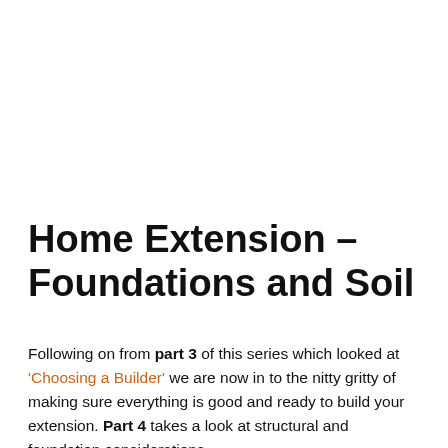Home Extension – Foundations and Soil
Following on from part 3 of this series which looked at 'Choosing a Builder' we are now in to the nitty gritty of making sure everything is good and ready to build your extension. Part 4 takes a look at structural and foundation considerations.